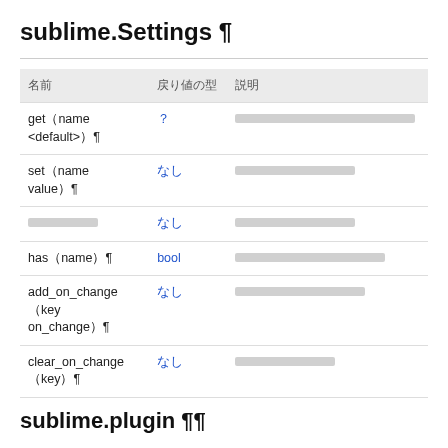sublime.Settings ¶
| 名前 | 戻り値の型 | 説明 |
| --- | --- | --- |
| get（name <default>）¶ | ？ | （placeholder description text） |
| set（name value）¶ | なし | （placeholder description text） |
| （placeholder） | なし | （placeholder description text） |
| has（name）¶ | bool | （placeholder description text） |
| add_on_change（key on_change）¶ | なし | （placeholder description text） |
| clear_on_change（key）¶ | なし | （placeholder description text） |
sublime.plugin ¶¶